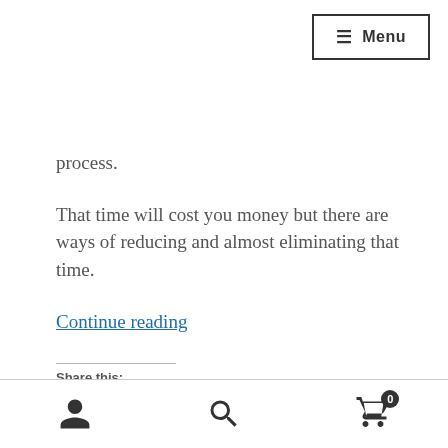≡ Menu
process.
That time will cost you money but there are ways of reducing and almost eliminating that time.
Continue reading
Share this:
Email Facebook LinkedIn Twitter Pinterest
user account, search, cart (0)